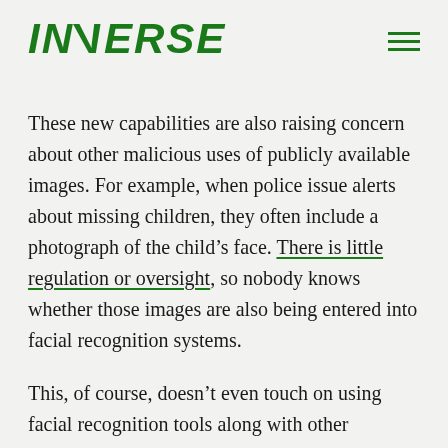INVERSE
These new capabilities are also raising concern about other malicious uses of publicly available images. For example, when police issue alerts about missing children, they often include a photograph of the child’s face. There is little regulation or oversight, so nobody knows whether those images are also being entered into facial recognition systems.
This, of course, doesn’t even touch on using facial recognition tools along with other technologies like police body cameras, geolocation software and machine learning to assist in real-time tracking. That goes beyond simple identification and into the realm of where someone has been, and where the software predicts